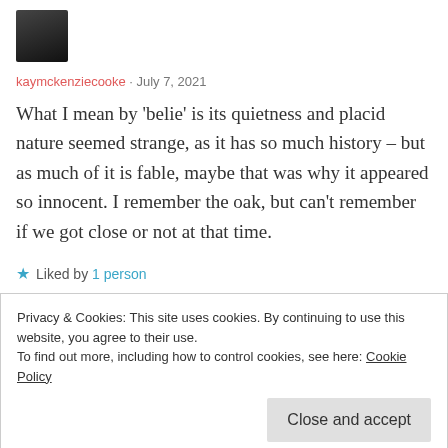[Figure (photo): Small avatar photo of a person in dark clothing, shown cropped at top of page]
kaymckenziecooke · July 7, 2021
What I mean by 'belie' is its quietness and placid nature seemed strange, as it has so much history – but as much of it is fable, maybe that was why it appeared so innocent. I remember the oak, but can't remember if we got close or not at that time.
★ Liked by 1 person
Privacy & Cookies: This site uses cookies. By continuing to use this website, you agree to their use.
To find out more, including how to control cookies, see here: Cookie Policy
Close and accept
Although, as you say, the Hood story is